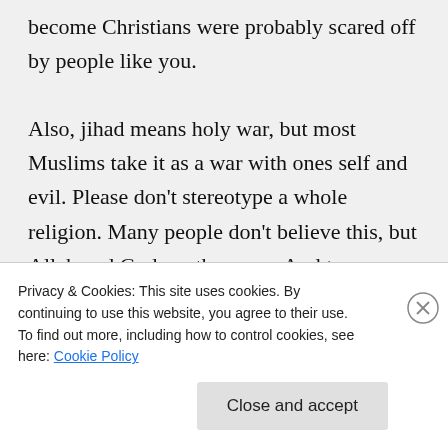become Christians were probably scared off by people like you.

Also, jihad means holy war, but most Muslims take it as a war with ones self and evil. Please don't stereotype a whole religion. Many people don't believe this, but Allah and God are the same. And to say atheists have no moral code… what makes you think that? Just because
Privacy & Cookies: This site uses cookies. By continuing to use this website, you agree to their use.
To find out more, including how to control cookies, see here: Cookie Policy
Close and accept